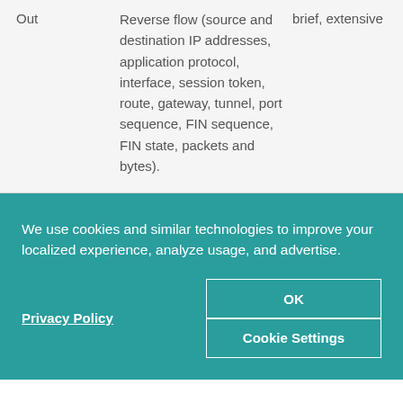| Out | Reverse flow (source and destination IP addresses, application protocol, interface, session token, route, gateway, tunnel, port sequence, FIN sequence, FIN state, packets and bytes). | brief, extensive |
We use cookies and similar technologies to improve your localized experience, analyze usage, and advertise.
Privacy Policy
OK
Cookie Settings